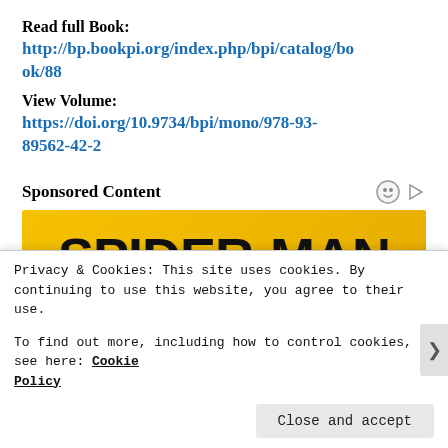Read full Book:
http://bp.bookpi.org/index.php/bpi/catalog/book/88
View Volume:
https://doi.org/10.9734/bpi/mono/978-93-89562-42-2
Sponsored Content
[Figure (illustration): Spider-Man advertisement banner with yellow background, bold black text reading SPIDER-MAN, subtitle: HERO, CITY, BIO, BRAWLER, SPIDER-VERSE, WEB-WARRIOR]
Privacy & Cookies: This site uses cookies. By continuing to use this website, you agree to their use.
To find out more, including how to control cookies, see here: Cookie Policy
Close and accept